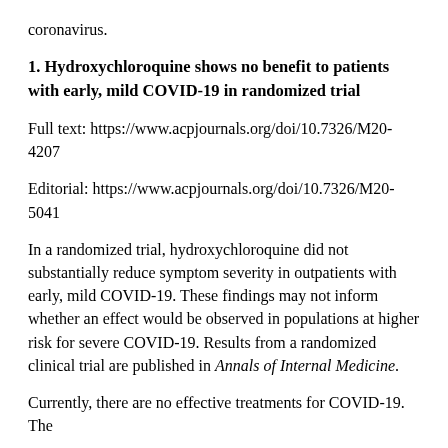coronavirus.
1. Hydroxychloroquine shows no benefit to patients with early, mild COVID-19 in randomized trial
Full text: https://www.acpjournals.org/doi/10.7326/M20-4207
Editorial: https://www.acpjournals.org/doi/10.7326/M20-5041
In a randomized trial, hydroxychloroquine did not substantially reduce symptom severity in outpatients with early, mild COVID-19. These findings may not inform whether an effect would be observed in populations at higher risk for severe COVID-19. Results from a randomized clinical trial are published in Annals of Internal Medicine.
Currently, there are no effective treatments for COVID-19. The